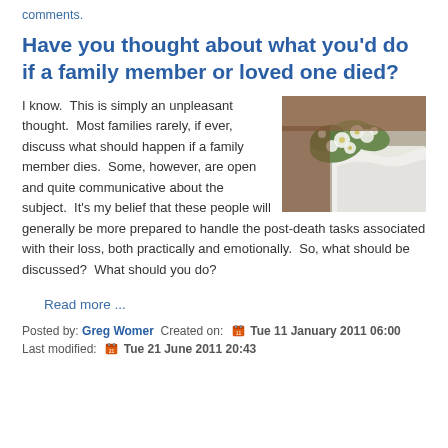comments.
Have you thought about what you'd do if a family member or loved one died?
I know.  This is simply an unpleasant thought.  Most families rarely, if ever, discuss what should happen if a family member dies.  Some, however, are open and quite communicative about the subject.  It's my belief that these people will generally be more prepared to handle the post-death tasks associated with their loss, both practically and emotionally.  So, what should be discussed?  What should you do?
[Figure (photo): Photo of white floral funeral arrangement with green leaves on what appears to be a casket draped in white fabric]
Read more ...
Posted by: Greg Womer  Created on:  Tue 11 January 2011 06:00  Last modified:  Tue 21 June 2011 20:43